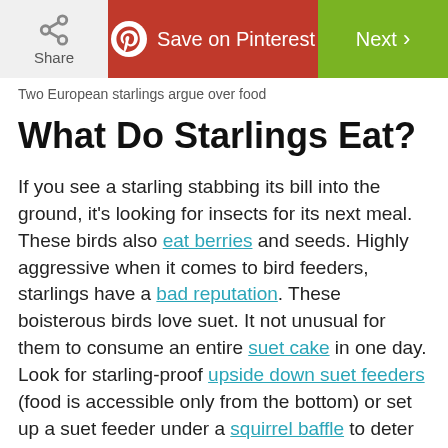Share | Save on Pinterest | Next
Two European starlings argue over food
What Do Starlings Eat?
If you see a starling stabbing its bill into the ground, it's looking for insects for its next meal. These birds also eat berries and seeds. Highly aggressive when it comes to bird feeders, starlings have a bad reputation. These boisterous birds love suet. It not unusual for them to consume an entire suet cake in one day. Look for starling-proof upside down suet feeders (food is accessible only from the bottom) or set up a suet feeder under a squirrel baffle to deter starlings. More